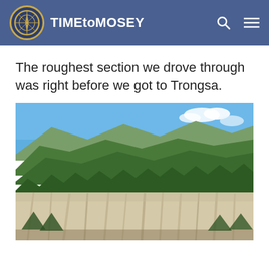TIMEtoMOSEY
The roughest section we drove through was right before we got to Trongsa.
[Figure (photo): Eroded white rock cliffs with forested mountains and blue sky in the background, taken near Trongsa, Bhutan.]